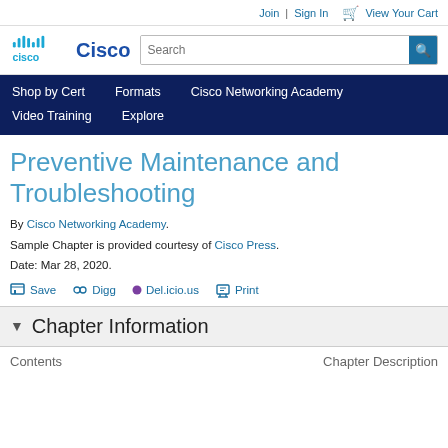Join | Sign In 🛒 View Your Cart
[Figure (logo): Cisco logo with antenna bars and Cisco wordmark in teal/blue]
Search
Shop by Cert  Formats  Cisco Networking Academy  Video Training  Explore
Preventive Maintenance and Troubleshooting
By Cisco Networking Academy.
Sample Chapter is provided courtesy of Cisco Press.
Date: Mar 28, 2020.
Save  Digg  Del.icio.us  Print
Chapter Information
Contents  Chapter Description